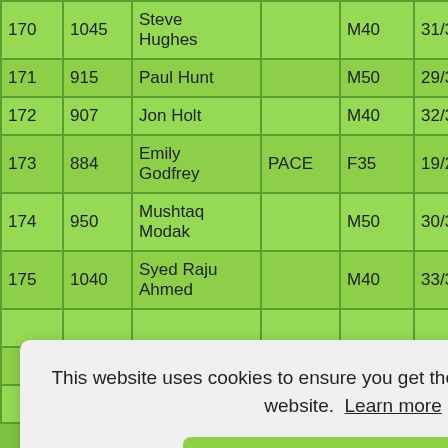| # | Bib | Name | Club | Cat | Cat Pos | Time |
| --- | --- | --- | --- | --- | --- | --- |
| 170 | 1045 | Steve Hughes |  | M40 | 31/34 | 2:2 |
| 171 | 915 | Paul Hunt |  | M50 | 29/31 | 2:2 |
| 172 | 907 | Jon Holt |  | M40 | 32/34 | 2:2 |
| 173 | 884 | Emily Godfrey | PACE | F35 | 19/23 | 2:2 |
| 174 | 950 | Mushtaq Modak |  | M50 | 30/31 | 2:2 |
| 175 | 1040 | Syed Raju Ahmed |  | M40 | 33/34 | 12 |
|  |  |  |  |  |  | 2:2 |
|  |  |  |  |  |  | 2:2 |
|  |  |  |  |  |  | 2:2 |
This website uses cookies to ensure you get the best experience on our website. Learn more